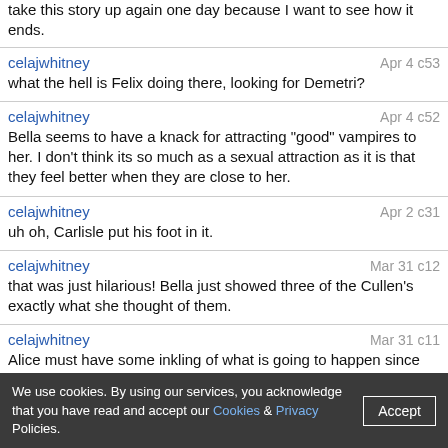take this story up again one day because I want to see how it ends.
celajwhitney
Apr 4 c53
what the hell is Felix doing there, looking for Demetri?
celajwhitney
Apr 4 c52
Bella seems to have a knack for attracting "good" vampires to her. I don't think its so much as a sexual attraction as it is that they feel better when they are close to her.
celajwhitney
Apr 2 c31
uh oh, Carlisle put his foot in it.
celajwhitney
Mar 31 c12
that was just hilarious! Bella just showed three of the Cullen's exactly what she thought of them.
celajwhitney
Mar 31 c11
Alice must have some inkling of what is going to happen since she's scared shitless of Jasper and thrown him out of their room. she wouldn't have done that unless she wants to get rid of him.
celajwhitney
Mar 31 c10
wow, Esme is so much more perceptive than Carlisle. he's been listening to Edward to much.
celajwhitney
Mar 31 c8
Edward is a total idiot! he listens and he never learns. I guess it's true that vampires are unchanging. if he was a spoiled brat as a human he is still a
We use cookies. By using our services, you acknowledge that you have read and accept our Cookies & Privacy Policies.